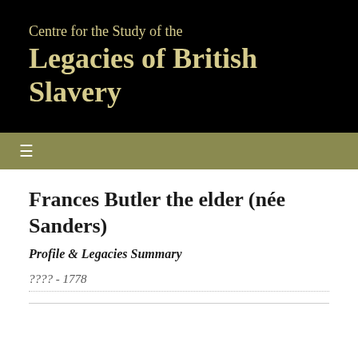Centre for the Study of the Legacies of British Slavery
Frances Butler the elder (née Sanders)
Profile & Legacies Summary
???? - 1778